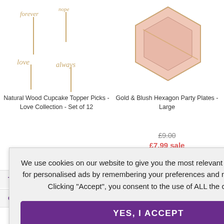[Figure (photo): Natural wood cupcake topper picks with cursive text (forever, love, always, etc.)]
Natural Wood Cupcake Topper Picks - Love Collection - Set of 12
[Figure (photo): Gold and blush hexagon party plates, large size]
Gold & Blush Hexagon Party Plates - Large
£9.00
£7.99 sale
OF 6
T DETAILS
CT Q&A
We use cookies on our website to give you the most relevant experience and for personalised ads by remembering your preferences and repeat visits. By Clicking "Accept", you consent to the use of ALL the cookies.
YES, I ACCEPT
More Info